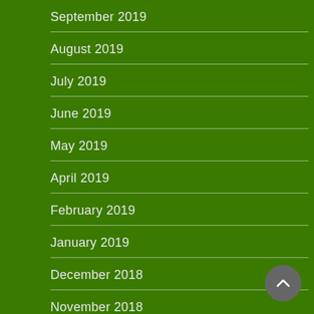September 2019
August 2019
July 2019
June 2019
May 2019
April 2019
February 2019
January 2019
December 2018
November 2018
October 2018